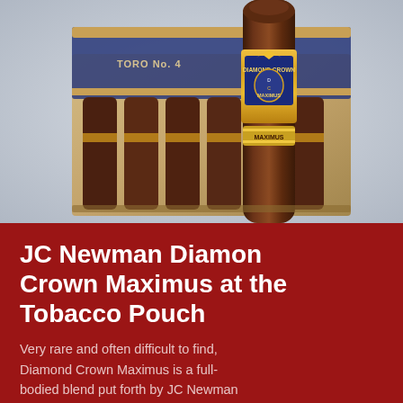[Figure (photo): Close-up photograph of a Diamond Crown Maximus cigar standing upright in front of an open wooden cigar box containing multiple cigars. The cigar has a distinctive ornate gold and blue label with a crown. The box has a blue interior lid visible in background.]
JC Newman Diamon Crown Maximus at the Tobacco Pouch
Very rare and often difficult to find, Diamond Crown Maximus is a full-bodied blend put forth by JC Newman after the success of the original